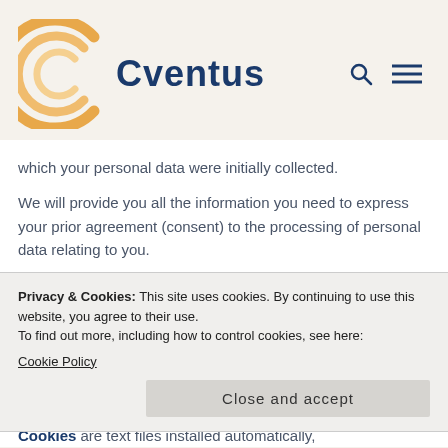[Figure (logo): Cventus company logo with orange concentric C arc shape and blue 'Cventus' wordmark]
which your personal data were initially collected.
We will provide you all the information you need to express your prior agreement (consent) to the processing of personal data relating to you.
Privacy & Cookies: This site uses cookies. By continuing to use this website, you agree to their use.
To find out more, including how to control cookies, see here:
Cookie Policy
Close and accept
Cookies are text files installed automatically,